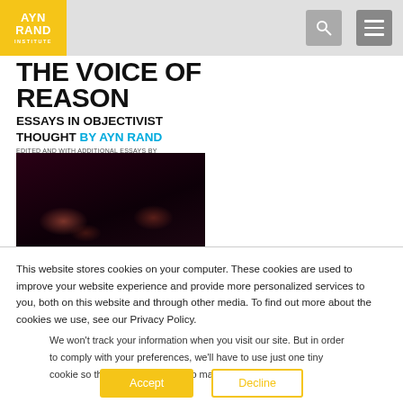AYN RAND INSTITUTE
[Figure (photo): Book cover of 'The Voice of Reason: Essays in Objectivist Thought by Ayn Rand', edited and with additional essays by Leonard Peikoff. Shows bold black title text over a dark reddish photograph.]
This website stores cookies on your computer. These cookies are used to improve your website experience and provide more personalized services to you, both on this website and through other media. To find out more about the cookies we use, see our Privacy Policy.
We won't track your information when you visit our site. But in order to comply with your preferences, we'll have to use just one tiny cookie so that you're not asked to make this choice again.
Accept
Decline